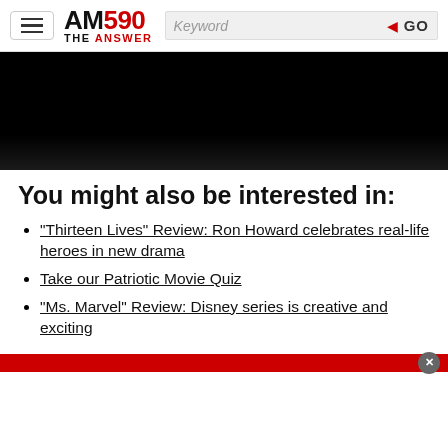AM590 THE ANSWER — navigation header with search bar
[Figure (photo): Black banner image area]
You might also be interested in:
"Thirteen Lives" Review: Ron Howard celebrates real-life heroes in new drama
Take our Patriotic Movie Quiz
"Ms. Marvel" Review: Disney series is creative and exciting